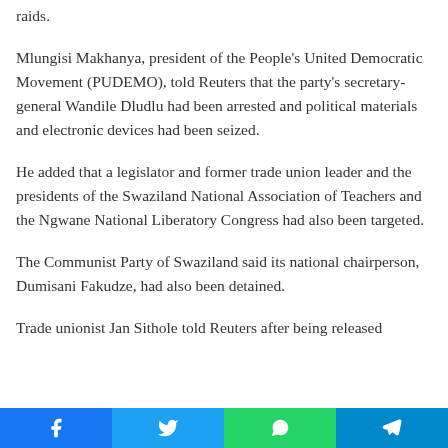raids.
Mlungisi Makhanya, president of the People's United Democratic Movement (PUDEMO), told Reuters that the party's secretary-general Wandile Dludlu had been arrested and political materials and electronic devices had been seized.
He added that a legislator and former trade union leader and the presidents of the Swaziland National Association of Teachers and the Ngwane National Liberatory Congress had also been targeted.
The Communist Party of Swaziland said its national chairperson, Dumisani Fakudze, had also been detained.
Trade unionist Jan Sithole told Reuters after being released
[Figure (other): Social media sharing bar with Facebook, Twitter, WhatsApp, and Telegram icons]